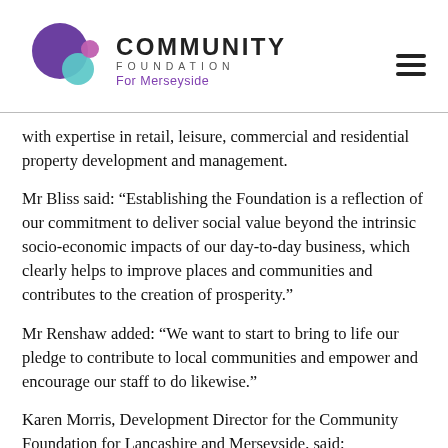[Figure (logo): Community Foundation for Merseyside logo with purple and teal circles]
with expertise in retail, leisure, commercial and residential property development and management.
Mr Bliss said: “Establishing the Foundation is a reflection of our commitment to deliver social value beyond the intrinsic socio-economic impacts of our day-to-day business, which clearly helps to improve places and communities and contributes to the creation of prosperity.”
Mr Renshaw added: “We want to start to bring to life our pledge to contribute to local communities and empower and encourage our staff to do likewise.”
Karen Morris, Development Director for the Community Foundation for Lancashire and Merseyside, said: “Momentum is the